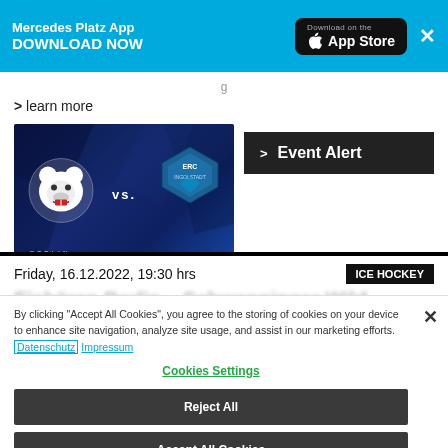[Figure (screenshot): App store banner with Mercedes Platz App download prompt on cyan background, with Download on the App Store button and X close button]
> learn more
[Figure (photo): Ice hockey matchup graphic: Eisbären Berlin vs. ERC Ingolstadt on dark blue geometric background]
> Event Alert
Friday, 16.12.2022, 19:30 hrs
ICE HOCKEY
Eisbären Berlin - Schwenninger Wild...
By clicking "Accept All Cookies", you agree to the storing of cookies on your device to enhance site navigation, analyze site usage, and assist in our marketing efforts. Datenschutz Impressum
Cookies Settings
Reject All
Accept All Cookies